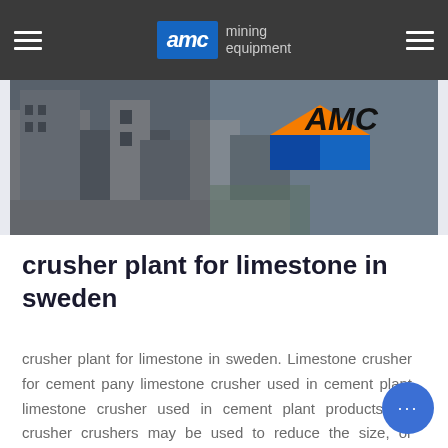AMC mining equipment
[Figure (photo): Photo of a building exterior with AMC logo visible in orange and blue on the right side]
crusher plant for limestone in sweden
crusher plant for limestone in sweden. Limestone crusher for cement pany limestone crusher used in cement plant limestone crusher used in cement plant products list crusher crushers may be used to reduce the size, or change the form, of waste materials so in industry, crushers are machines... which use a metal surface to break or these